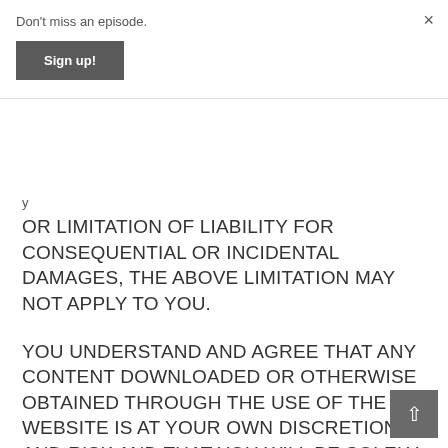Don't miss an episode.
Sign up!
×
y
OR LIMITATION OF LIABILITY FOR CONSEQUENTIAL OR INCIDENTAL DAMAGES, THE ABOVE LIMITATION MAY NOT APPLY TO YOU.
YOU UNDERSTAND AND AGREE THAT ANY CONTENT DOWNLOADED OR OTHERWISE OBTAINED THROUGH THE USE OF THE WEBSITE IS AT YOUR OWN DISCRETION AND RISK AND THAT YOU WILL BE SOLELY RESPONSIBLE FOR ANY DAMAGE TO YOUR COMPUTER SYSTEM OR LOSS OF DATA OR